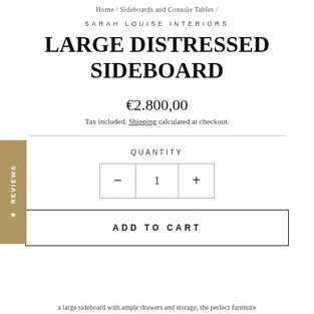Home / Sideboards and Console Tables /
SARAH LOUISE INTERIORS
LARGE DISTRESSED SIDEBOARD
€2.800,00
Tax included. Shipping calculated at checkout.
QUANTITY
1
ADD TO CART
★ REVIEWS
a large sideboard with ample drawers and storage, the perfect furniture